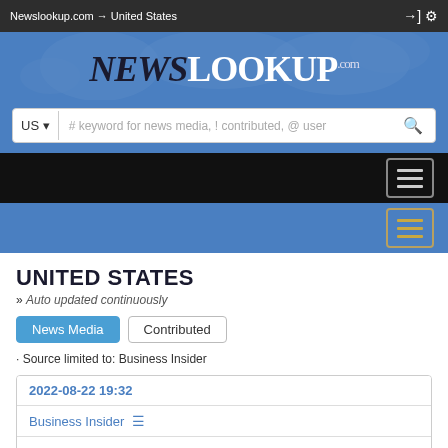Newslookup.com → United States
[Figure (logo): NEWSLOOKUP.com logo on blue background with world map]
US ▾  # keyword for news media, ! contributed, @ user
[Figure (infographic): Black navigation bar with hamburger menu button]
[Figure (infographic): Blue navigation bar with hamburger menu button]
UNITED STATES
» Auto updated continuously
News Media   Contributed
· Source limited to: Business Insider
2022-08-22 19:32
Business Insider  ☰